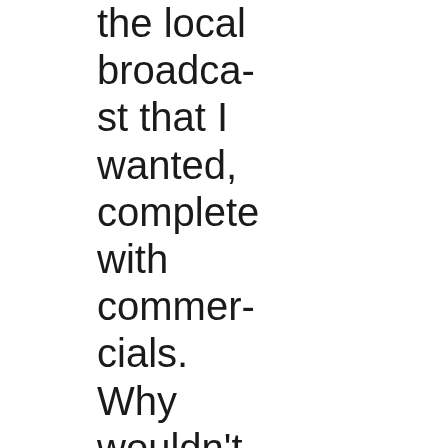the local broadcast that I wanted, complete with commercials. Why wouldn't the major sports leagues do the same